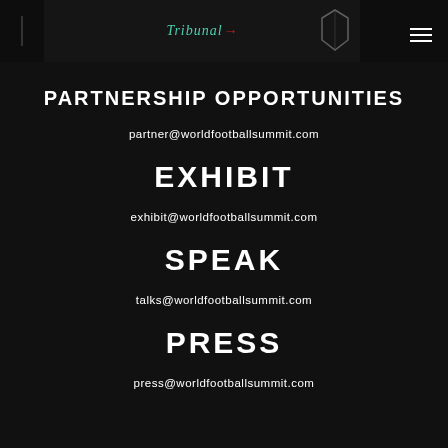[Figure (screenshot): Dark header banner with partial event logo/text reading 'Tribunal' in teal, with decorative elements]
PARTNERSHIP OPPORTUNITIES
partner@worldfootballsummit.com
EXHIBIT
exhibit@worldfootballsummit.com
SPEAK
talks@worldfootballsummit.com
PRESS
press@worldfootballsummit.com